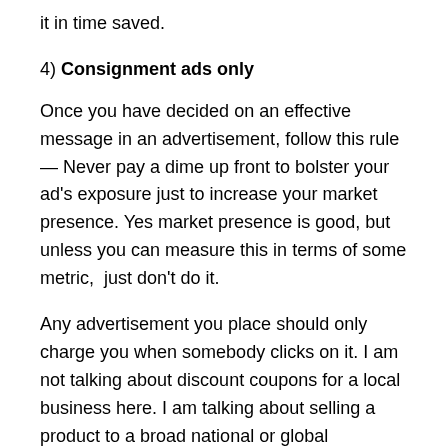it in time saved.
4) Consignment ads only
Once you have decided on an effective message in an advertisement, follow this rule — Never pay a dime up front to bolster your ad's exposure just to increase your market presence. Yes market presence is good, but unless you can measure this in terms of some metric,  just don't do it.
Any advertisement you place should only charge you when somebody clicks on it. I am not talking about discount coupons for a local business here. I am talking about selling a product to a broad national or global audience. This edict pretty much rules out print advertising. To be fair, I have heard from other CEO's of tech companies that if you stick with print ads and spend a